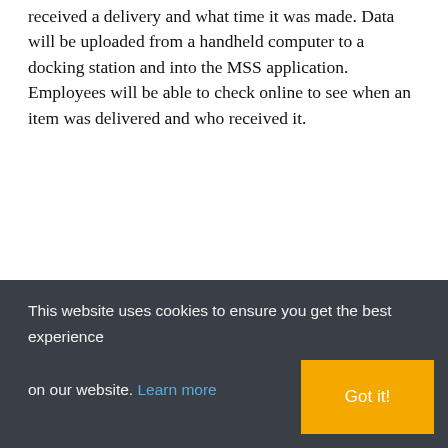received a delivery and what time it was made. Data will be uploaded from a handheld computer to a docking station and into the MSS application. Employees will be able to check online to see when an item was delivered and who received it.
Newsletter Signup
SUBSCRIBE TODAY
Get the latest articles from Field Technologies Online delivered to your inbox.
This website uses cookies to ensure you get the best experience on our website. Learn more